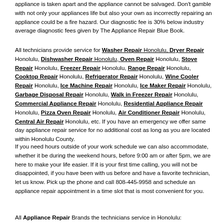appliance is taken apart and the appliance cannot be salvaged. Don't gamble with not only your appliances life but also your own as incorrectly repairing an appliance could be a fire hazard. Our diagnostic fee is 30% below industry average diagnostic fees given by The Appliance Repair Blue Book.
All technicians provide service for Washer Repair Honolulu, Dryer Repair Honolulu, Dishwasher Repair Honolulu, Oven Repair Honolulu, Stove Repair Honolulu, Freezer Repair Honolulu, Range Repair Honolulu, Cooktop Repair Honolulu, Refrigerator Repair Honolulu, Wine Cooler Repair Honolulu, Ice Machine Repair Honolulu, Ice Maker Repair Honolulu, Garbage Disposal Repair Honolulu, Walk in Freezer Repair Honolulu, Commercial Appliance Repair Honolulu, Residential Appliance Repair Honolulu, Pizza Oven Repair Honolulu, Air Conditioner Repair Honolulu, Central Air Repair Honolulu, etc. If you have an emergency we offer same day appliance repair service for no additional cost as long as you are located within Honolulu County.
If you need hours outside of your work schedule we can also accommodate, whether it be during the weekend hours, before 9:00 am or after 5pm, we are here to make your life easier. If it is your first time calling, you will not be disappointed, if you have been with us before and have a favorite technician, let us know. Pick up the phone and call 808-445-9958 and schedule an appliance repair appointment in a time slot that is most convenient for you.
All Appliance Repair Brands the technicians service in Honolulu: